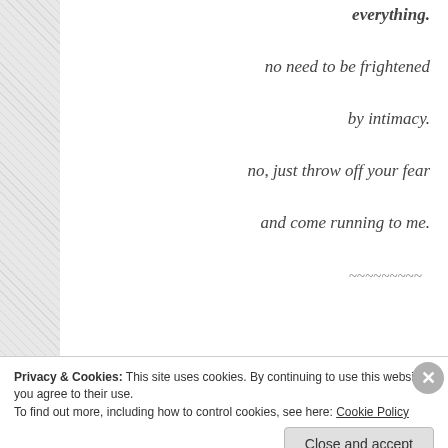everything.
no need to be frightened
by intimacy.
no, just throw off your fear
and come running to me.
~~~~~~~~~
Three weeks ago I wrote this phrase, in curvy bold script acros
Privacy & Cookies: This site uses cookies. By continuing to use this website, you agree to their use.
To find out more, including how to control cookies, see here: Cookie Policy
Close and accept